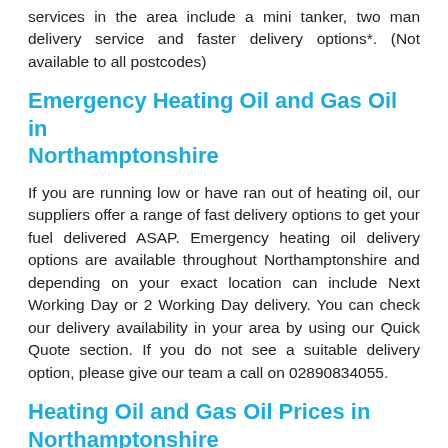services in the area include a mini tanker, two man delivery service and faster delivery options*. (Not available to all postcodes)
Emergency Heating Oil and Gas Oil in Northamptonshire
If you are running low or have ran out of heating oil, our suppliers offer a range of fast delivery options to get your fuel delivered ASAP. Emergency heating oil delivery options are available throughout Northamptonshire and depending on your exact location can include Next Working Day or 2 Working Day delivery. You can check our delivery availability in your area by using our Quick Quote section. If you do not see a suitable delivery option, please give our team a call on 02890834055.
Heating Oil and Gas Oil Prices in Northamptonshire
The table below provides rough estimates of heating oil prices in Northamptonshire. The prices are number of factors